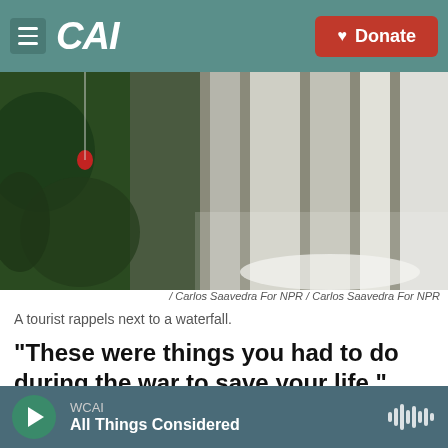CAI — Donate
[Figure (photo): Aerial or elevated view of a person in red rappelling next to a large waterfall, with lush green jungle vegetation on the left and cascading white water on the right.]
/ Carlos Saavedra For NPR / Carlos Saavedra For NPR
A tourist rappels next to a waterfall.
"These were things you had to do during the war to save your life," says Lida María Urrego, a FARC guerrilla turned guide who still goes by her nom de
WCAI — All Things Considered